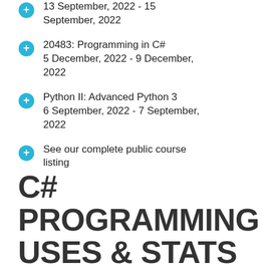13 September, 2022 - 15 September, 2022
20483: Programming in C#
5 December, 2022 - 9 December, 2022
Python II: Advanced Python 3
6 September, 2022 - 7 September, 2022
See our complete public course listing
C# PROGRAMMING USES & STATS